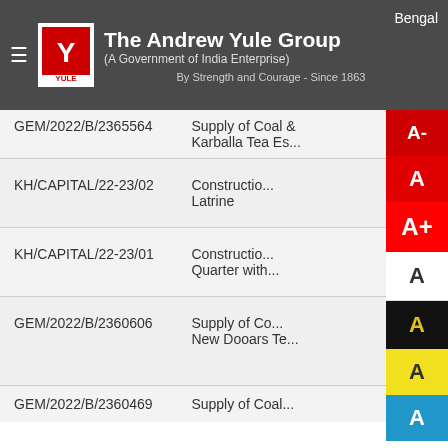The Andrew Yule Group (A Government of India Enterprise) By Strength and Courage - Since 1863 | Bengal
| Reference No. | Description |
| --- | --- |
| GEM/2022/B/2365564 | Supply of Coal at Karballa Tea Es... |
| KH/CAPITAL/22-23/02 | Construction Latrine |
| KH/CAPITAL/22-23/01 | Construction Quarter with... |
| GEM/2022/B/2360606 | Supply of Co... New Dooars Te... |
| GEM/2022/B/2360469 | Supply of Coal... |